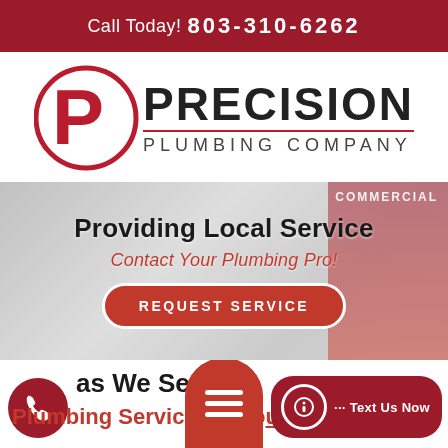Call Today! 803-310-6262
[Figure (logo): Precision Plumbing Company logo: red circle with stylized P letterform, beside bold text PRECISION and smaller text PLUMBING COMPANY]
[Figure (photo): Background photo of a plumber/technician working, partially visible, with a red van or equipment panel visible, text COMMERCIAL partially visible in upper right]
Providing Local Service
Contact Your Plumbing Pro!
REQUEST SERVICE
as We Se...
Plumbing Servic... ar You